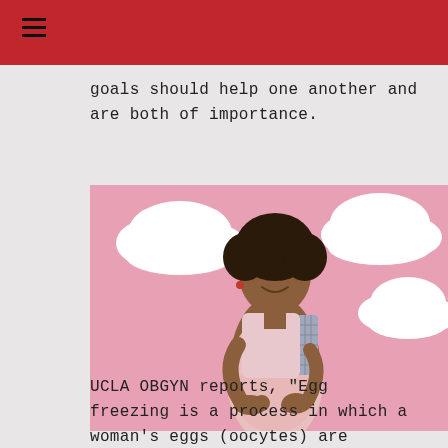goals should help one another and are both of importance.
[Figure (photo): A smiling pregnant woman with curly hair, wearing a pink dress and holding her belly, standing against a pink background with decorative white cloud shapes.]
UCLA OBGYN reports, "Egg freezing is a process in which a woman's eggs (oocytes) are extracted, frozen, and stored as a